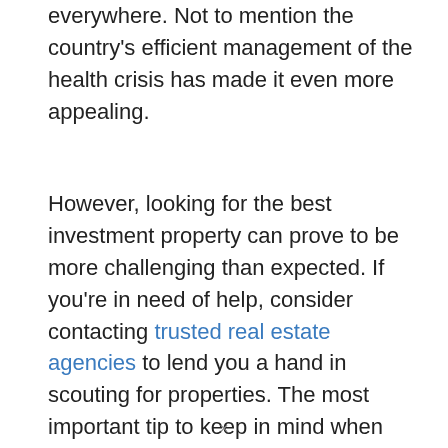everywhere. Not to mention the country's efficient management of the health crisis has made it even more appealing.
However, looking for the best investment property can prove to be more challenging than expected. If you're in need of help, consider contacting trusted real estate agencies to lend you a hand in scouting for properties. The most important tip to keep in mind when purchasing any kind of property is to always look at its location.
×